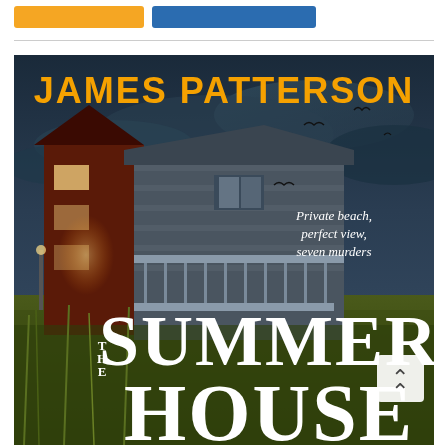[Figure (other): Two buttons: an orange button and a blue button in the top navigation area of a website]
[Figure (photo): Book cover of 'The Summer House' by James Patterson. Shows a large beach house at dusk/night with ominous dark sky and birds. Text reads 'JAMES PATTERSON' in gold letters at top, 'Private beach, perfect view, seven murders' in white italic text on the right side, and 'THE SUMMER HOUSE' in large white serif letters at the bottom.]